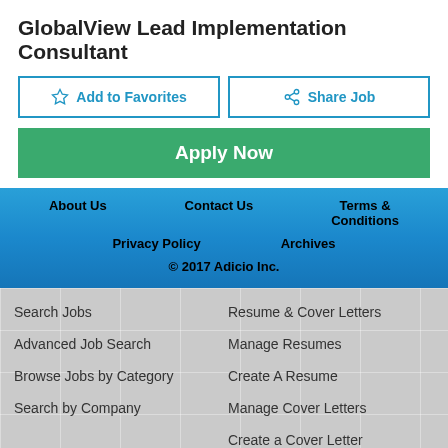GlobalView Lead Implementation Consultant
Add to Favorites
Share Job
Apply Now
About Us | Contact Us | Terms & Conditions | Privacy Policy | Archives | © 2017 Adicio Inc.
Search Jobs
Resume & Cover Letters
Advanced Job Search
Manage Resumes
Browse Jobs by Category
Create A Resume
Search by Company
Manage Cover Letters
Create a Cover Letter
Job Search Tools
Account Information